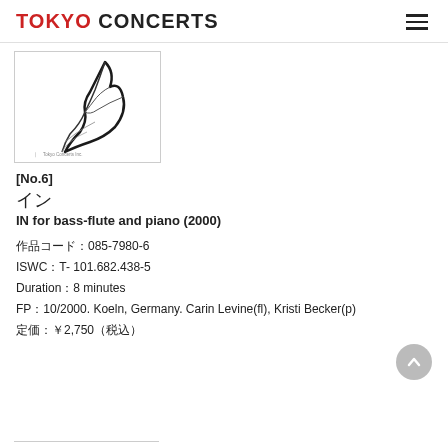TOKYO CONCERTS
[Figure (illustration): Album cover with a feather/brush stroke illustration on white background, small Tokyo Concerts Inc. text at bottom left]
[No.6]
イン
IN for bass-flute and piano (2000)
作品コード：085-7980-6
ISWC：T- 101.682.438-5
Duration：8 minutes
FP：10/2000. Koeln, Germany. Carin Levine(fl), Kristi Becker(p)
定価：￥2,750（税込）